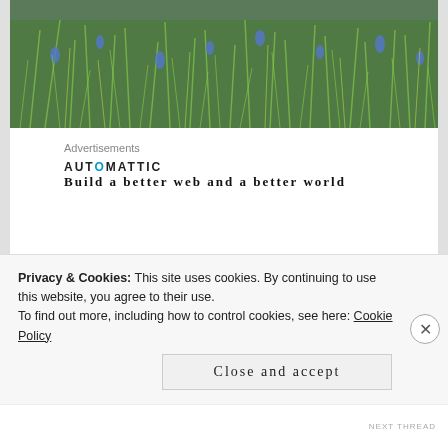[Figure (photo): Photograph of wild grasses and blue wildflowers growing densely, viewed from above, in green and blue tones.]
Advertisements
[Figure (logo): Automattic logo with a blue circle over the 'O', followed by text 'Build a better web and a better world']
[Figure (photo): Photograph showing a small green succulent plant in dark soil, partially visible.]
Privacy & Cookies: This site uses cookies. By continuing to use this website, you agree to their use.
To find out more, including how to control cookies, see here: Cookie Policy
Close and accept